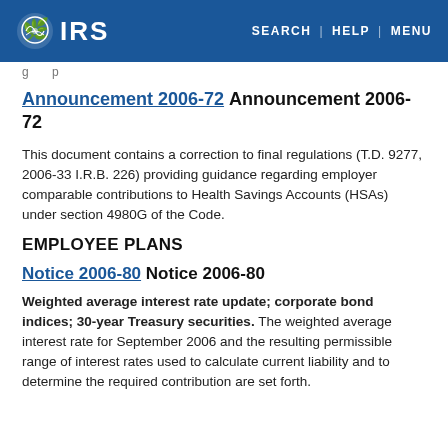IRS — SEARCH | HELP | MENU
Announcement 2006-72 Announcement 2006-72
This document contains a correction to final regulations (T.D. 9277, 2006-33 I.R.B. 226) providing guidance regarding employer comparable contributions to Health Savings Accounts (HSAs) under section 4980G of the Code.
EMPLOYEE PLANS
Notice 2006-80 Notice 2006-80
Weighted average interest rate update; corporate bond indices; 30-year Treasury securities. The weighted average interest rate for September 2006 and the resulting permissible range of interest rates used to calculate current liability and to determine the required contribution are set forth.